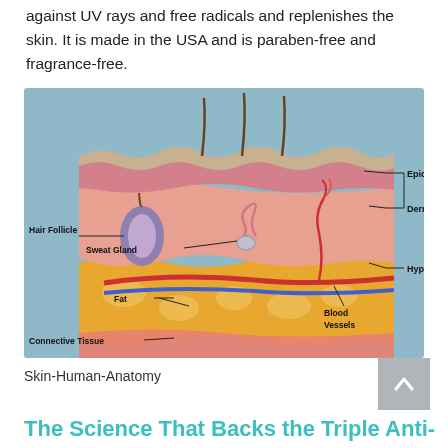against UV rays and free radicals and replenishes the skin. It is made in the USA and is paraben-free and fragrance-free.
[Figure (illustration): Cross-section diagram of human skin anatomy showing layers (Epidermis, Dermis, Hypodermis) and structures (Hair Follicle, Sweat Gland, Fat, Connective Tissue, Blood Vessels) on a blue-gray background.]
Skin-Human-Anatomy
The Science That Backs the Triple Anti-